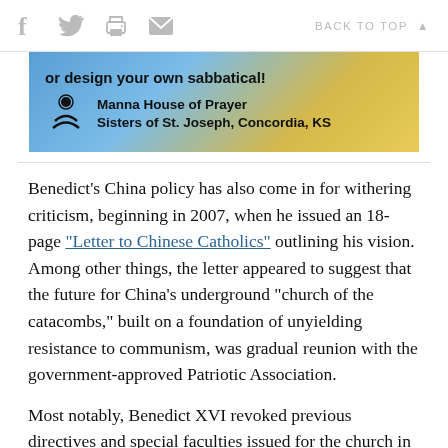f  [twitter]  [print]  [mail]    BACK TO TOP ▲
[Figure (illustration): Advertisement banner for Manna House of Prayer, Sisters of St. Joseph, Concordia, KS. Blue and yellow gradient background with text 'or design your own sabbatical!' and logo of hands.]
Benedict's China policy has also come in for withering criticism, beginning in 2007, when he issued an 18-page "Letter to Chinese Catholics" outlining his vision. Among other things, the letter appeared to suggest that the future for China's underground "church of the catacombs," built on a foundation of unyielding resistance to communism, was gradual reunion with the government-approved Patriotic Association.
Most notably, Benedict XVI revoked previous directives and special faculties issued for the church in China. These directives had advised Chinese...